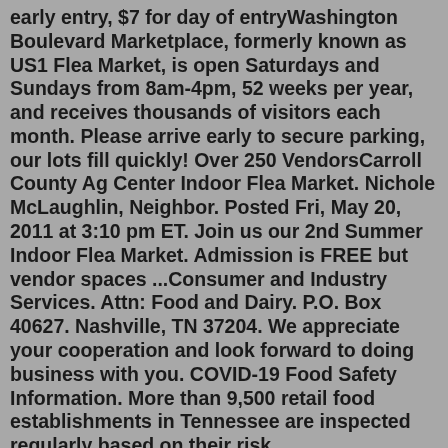early entry, $7 for day of entryWashington Boulevard Marketplace, formerly known as US1 Flea Market, is open Saturdays and Sundays from 8am-4pm, 52 weeks per year, and receives thousands of visitors each month. Please arrive early to secure parking, our lots fill quickly! Over 250 VendorsCarroll County Ag Center Indoor Flea Market. Nichole McLaughlin, Neighbor. Posted Fri, May 20, 2011 at 3:10 pm ET. Join us our 2nd Summer Indoor Flea Market. Admission is FREE but vendor spaces ...Consumer and Industry Services. Attn: Food and Dairy. P.O. Box 40627. Nashville, TN 37204. We appreciate your cooperation and look forward to doing business with you. COVID-19 Food Safety Information. More than 9,500 retail food establishments in Tennessee are inspected regularly based on their risk category:Farmers, Ranchers, and Other Agricultural Managers11-9013.00Updated 2022. Plan, direct, or coordinate the management or operation of farms, ranches, greenhouses, aquacultural operations,